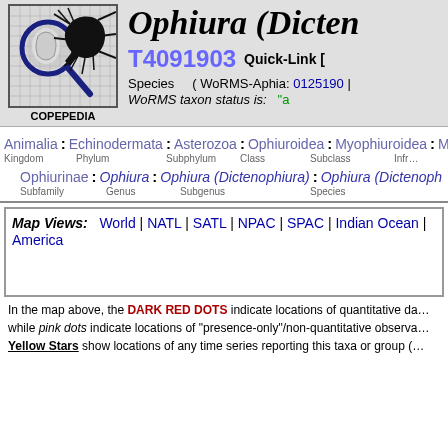[Figure (logo): Copepedia logo: magnifying glass with marine organism and insect silhouette on grid background]
Ophiura (Dicten…
T4091903   Quick-Link [
Species   ( WoRMS-Aphia: 0125190 |
WoRMS taxon status is: "a
Animalia : Echinodermata : Asterozoa : Ophiuroidea : Myophiuroidea : Meto…
Kingdom   Phylum   Subphylum   Class   Subclass   Infr…
Ophiurinae : Ophiura : Ophiura (Dictenophiura) : Ophiura (Dictenoph…
Subfamily   Genus   Subgenus   Species
Map Views:  World | NATL | SATL | NPAC | SPAC | Indian Ocean | … America
In the map above, the DARK RED DOTS indicate locations of quantitative da… while pink dots indicate locations of "presence-only"/non-quantitative observa… Yellow Stars show locations of any time series reporting this taxa or group (…